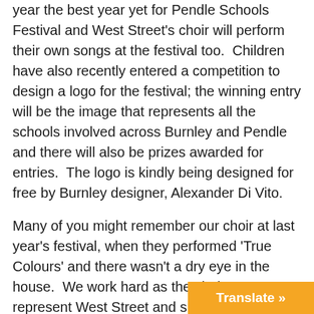year the best year yet for Pendle Schools Festival and West Street's choir will perform their own songs at the festival too. Children have also recently entered a competition to design a logo for the festival; the winning entry will be the image that represents all the schools involved across Burnley and Pendle and there will also be prizes awarded for entries. The logo is kindly being designed for free by Burnley designer, Alexander Di Vito.
Many of you might remember our choir at last year's festival, when they performed 'True Colours' and there wasn't a dry eye in the house. We work hard as the choir to represent West Street and show off the talent of our amazing children. This year the choir will be directed, accompanied and conducted by Mrs Lamb and Ms James, who are trying to find innovative new ways to present our work and showcase the stunning voices of the children. The choir also recently represented us at [...]  at the MEN Arena in Manchester.